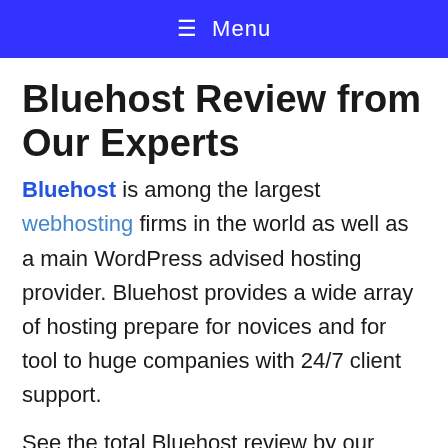≡ Menu
Bluehost Review from Our Experts
Bluehost is among the largest webhosting firms in the world as well as a main WordPress advised hosting provider. Bluehost provides a wide array of hosting prepare for novices and for tool to huge companies with 24/7 client support.
See the total Bluehost review by our